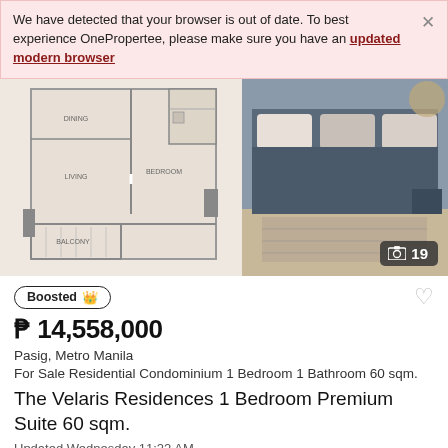We have detected that your browser is out of date. To best experience OnePropertee, please make sure you have an updated modern browser
[Figure (illustration): Floor plan of a 1-bedroom unit showing dining, living, bedroom, and balcony areas on the left, and a bedroom interior photo on the right. A photo counter badge shows '19'.]
Boosted
₱ 14,558,000
Pasig, Metro Manila
For Sale Residential Condominium 1 Bedroom 1 Bathroom 60 sqm.
The Velaris Residences 1 Bedroom Premium Suite 60 sqm.
Updated Wednesday 11:22 AM